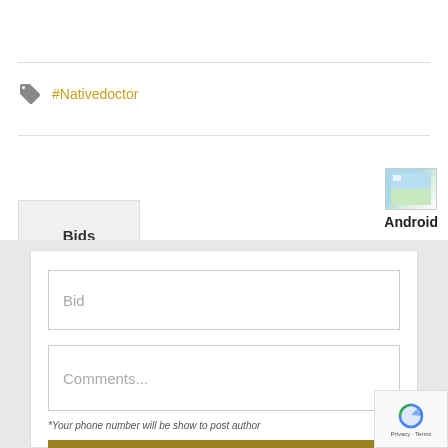#Nativedoctor
Android
Bids
Bid
Comments...
*Your phone number will be show to post author
SEND